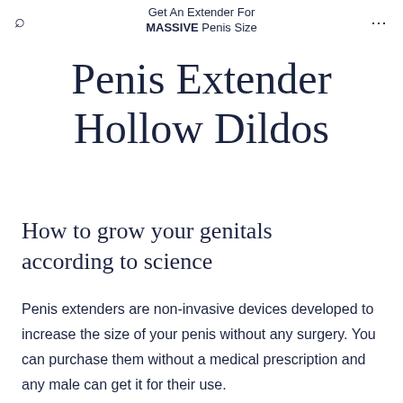Get An Extender For MASSIVE Penis Size
Penis Extender Hollow Dildos
How to grow your genitals according to science
Penis extenders are non-invasive devices developed to increase the size of your penis without any surgery. You can purchase them without a medical prescription and any male can get it for their use.